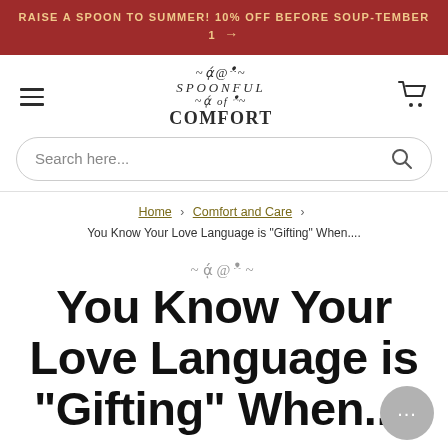RAISE A SPOON TO SUMMER! 10% OFF BEFORE SOUP-TEMBER 1 →
[Figure (logo): Spoonful of Comfort logo with decorative swirl text and serif font]
Search here...
Home > Comfort and Care > You Know Your Love Language is "Gifting" When....
[Figure (illustration): Small decorative swirl ornament]
You Know Your Love Language is "Gifting" When....